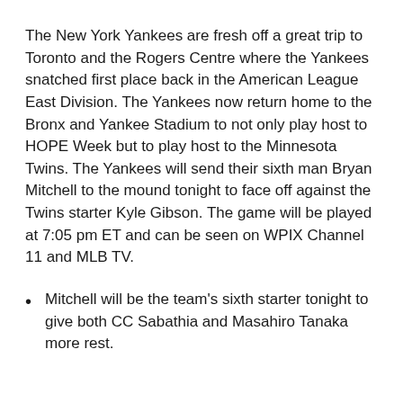The New York Yankees are fresh off a great trip to Toronto and the Rogers Centre where the Yankees snatched first place back in the American League East Division. The Yankees now return home to the Bronx and Yankee Stadium to not only play host to HOPE Week but to play host to the Minnesota Twins. The Yankees will send their sixth man Bryan Mitchell to the mound tonight to face off against the Twins starter Kyle Gibson. The game will be played at 7:05 pm ET and can be seen on WPIX Channel 11 and MLB TV.
Mitchell will be the team's sixth starter tonight to give both CC Sabathia and Masahiro Tanaka more rest.
Gibson will be pitching tonight on an extra day of rest after taking the loss the first time he faced off against